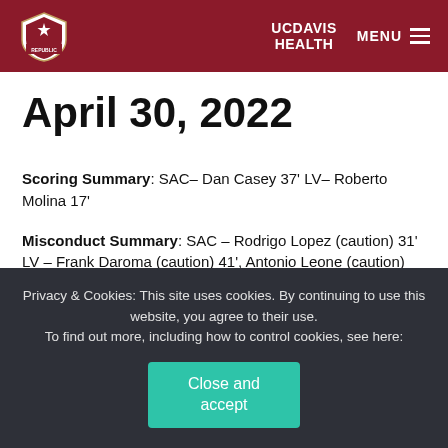UC Davis Health — MENU
April 30, 2022
Scoring Summary: SAC– Dan Casey 37' LV– Roberto Molina 17'
Misconduct Summary: SAC – Rodrigo Lopez (caution) 31' LV – Frank Daroma (caution) 41', Antonio Leone (caution) 45',
Privacy & Cookies: This site uses cookies. By continuing to use this website, you agree to their use. To find out more, including how to control cookies, see here:
Close and accept